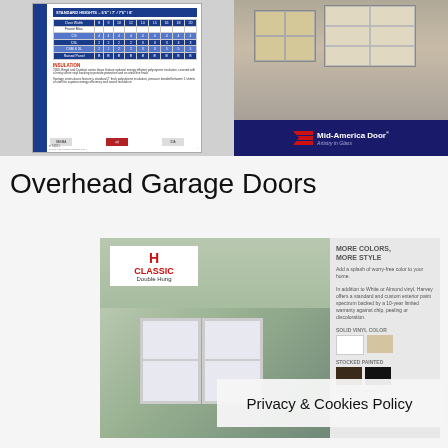[Figure (photo): Left: Scanned brochure page showing Mid-America Door standard heights table in blue and an insulation section. Right: Photo of a house with a beige overhead garage door, with Mid-America Door brand bar at bottom.]
Overhead Garage Doors
[Figure (photo): Harvey Classic Double Hung windows product brochure page showing windows installed in a house with blue siding, and a panel on the right showing 'MORE COLORS, MORE STYLE' with solid vinyl color swatches (white, tan) and stocked painted colors (dark brown, black). A Privacy & Cookies Policy overlay bar appears at the bottom.]